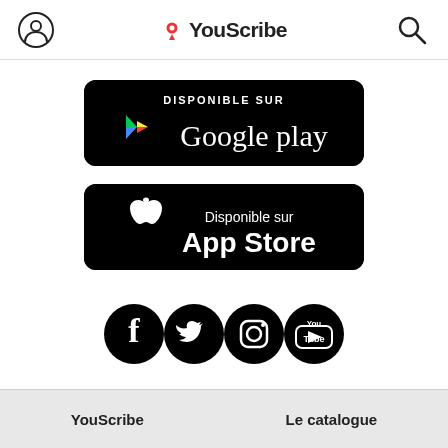YouScribe
[Figure (logo): Google Play store badge — black rounded rectangle with DISPONIBLE SUR text and Google Play logo]
[Figure (logo): App Store badge — black rounded rectangle with Disponible sur App Store text and Apple logo]
[Figure (illustration): Social media icons: Facebook, Twitter, Instagram, YouTube — all black circles with white icons]
YouScribe    Le catalogue